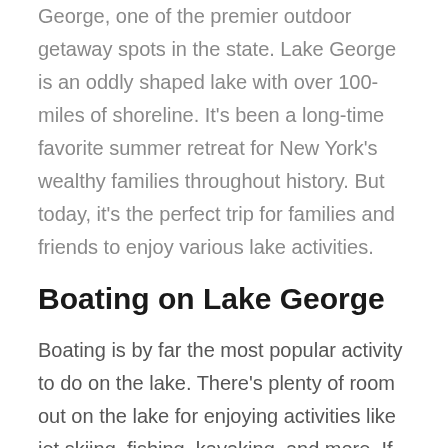George, one of the premier outdoor getaway spots in the state. Lake George is an oddly shaped lake with over 100-miles of shoreline. It's been a long-time favorite summer retreat for New York's wealthy families throughout history. But today, it's the perfect trip for families and friends to enjoy various lake activities.
Boating on Lake George
Boating is by far the most popular activity to do on the lake. There's plenty of room out on the lake for enjoying activities like jet skiing, fishing, kayaking, and more. If you're a frequent visitor to Lake George, you might already have your